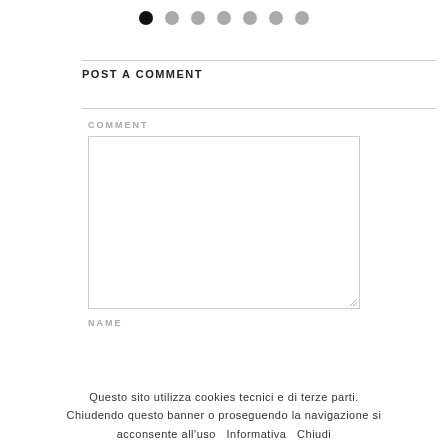[Figure (other): Row of 7 pagination dots: first dot is black/filled, remaining 6 are gray]
POST A COMMENT
COMMENT
[Figure (other): Comment textarea input box, empty, with resize handle at bottom right]
NAME
Questo sito utilizza cookies tecnici e di terze parti. Chiudendo questo banner o proseguendo la navigazione si acconsente all'uso  Informativa  Chiudi